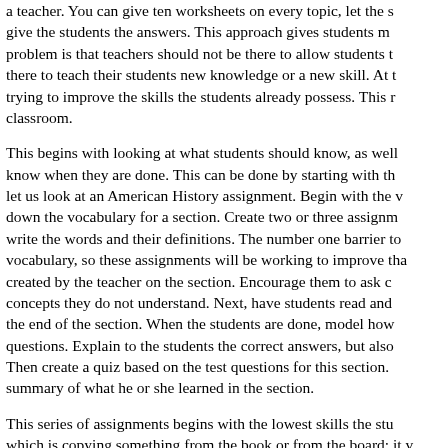a teacher. You can give ten worksheets on every topic, let the students give the students the answers. This approach gives students m... problem is that teachers should not be there to allow students to... there to teach their students new knowledge or a new skill. At th... trying to improve the skills the students already possess. This r... classroom.
This begins with looking at what students should know, as well as know when they are done. This can be done by starting with the... let us look at an American History assignment. Begin with the v... down the vocabulary for a section. Create two or three assignm... write the words and their definitions. The number one barrier to vocabulary, so these assignments will be working to improve tha... created by the teacher on the section. Encourage them to ask c... concepts they do not understand. Next, have students read ano... the end of the section. When the students are done, model how questions. Explain to the students the correct answers, but also... Then create a quiz based on the test questions for this section. summary of what he or she learned in the section.
This series of assignments begins with the lowest skills the stu... which is copying something from the book or from the board; it ... comprehension; and it ends with the highest of reading compre... along the way, the teacher is involved and continues modeling v... helps the lower-level students, but it helps the higher-level stud... For the last assignment covering this section, the students shou... assignments to choose from. Draw a picture, or write a poem, m... this will allow the students to take advantage of the skills they m...